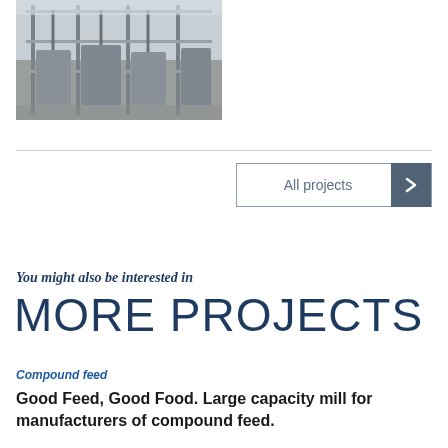[Figure (photo): Aerial view of industrial manufacturing machinery and equipment on a factory floor, showing metal frames, pipes, and processing units.]
All projects
You might also be interested in
MORE PROJECTS
Compound feed
Good Feed, Good Food. Large capacity mill for manufacturers of compound feed.